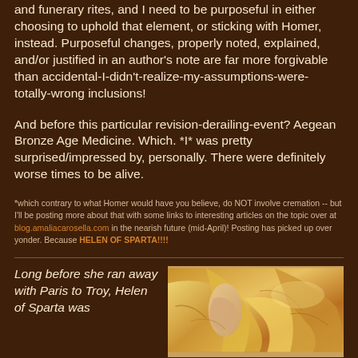and funerary rites, and I need to be purposeful in either choosing to uphold that element, or sticking with Homer, instead. Purposeful changes, properly noted, explained, and/or justified in an author's note are far more forgivable than accidental-I-didn't-realize-my-assumptions-were-totally-wrong inclusions!
And before this particular revision-derailing-event? Aegean Bronze Age Medicine. Which. *I* was pretty surprised/impressed by, personally. There were definitely worse times to be alive.
*which contrary to what Homer would have you believe, do NOT involve cremation -- but I'll be posting more about that with some links to interesting articles on the topic over at blog.amaliacarosella.com in the nearish future (mid-April)! Posting has picked up over yonder. Because HELEN OF SPARTA!!!!
Long before she ran away with Paris to Troy, Helen of Sparta was
[Figure (photo): Partial photo of a classical or Renaissance-style painting showing draped fabric in golden tones, likely depicting Helen of Sparta]